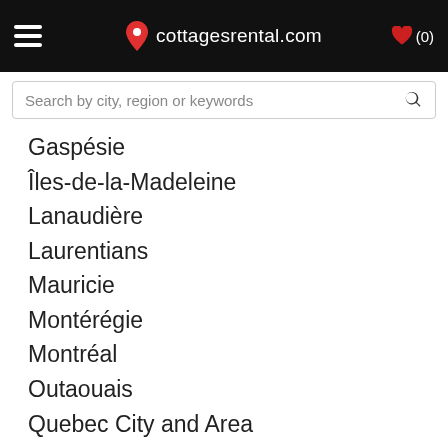cottagesrental.com
Gaspésie
Îles-de-la-Madeleine
Lanaudière
Laurentians
Mauricie
Montérégie
Montréal
Outaouais
Quebec City and Area
Saguenay-Lac-Saint-Jean
New-Brunswick
Ontario
View all listings >